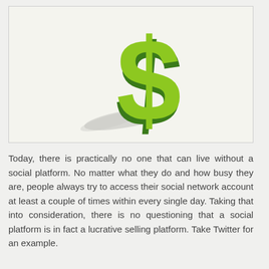[Figure (illustration): 3D green dollar sign with shadow cast to the left on a light beige background, inside a bordered rectangle.]
Today, there is practically no one that can live without a social platform. No matter what they do and how busy they are, people always try to access their social network account at least a couple of times within every single day. Taking that into consideration, there is no questioning that a social platform is in fact a lucrative selling platform. Take Twitter for an example.